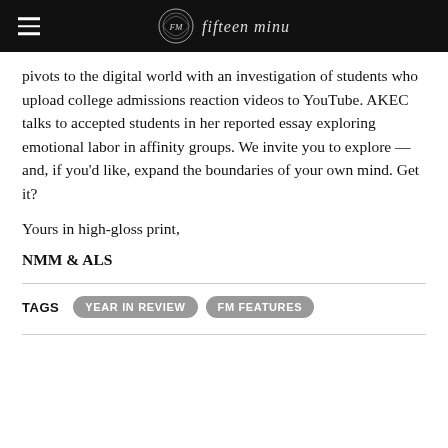FM Magazine header with logo
pivots to the digital world with an investigation of students who upload college admissions reaction videos to YouTube. AKEC talks to accepted students in her reported essay exploring emotional labor in affinity groups. We invite you to explore — and, if you’d like, expand the boundaries of your own mind. Get it?
Yours in high-gloss print,
NMM & ALS
YEAR IN REVIEW
FM FEATURES